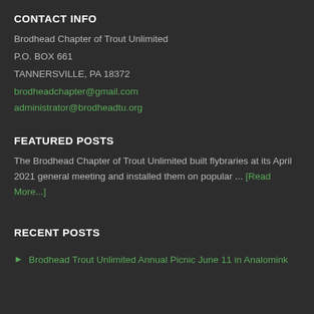CONTACT INFO
Brodhead Chapter of Trout Unlimited
P.O. BOX 661
TANNERSVILLE, PA 18372
brodheadchapter@gmail.com
administrator@brodheadtu.org
FEATURED POSTS
The Brodhead Chapter of Trout Unlimited built flybraries at its April 2021 general meeting and installed them on popular ... [Read More...]
RECENT POSTS
Brodhead Trout Unlimited Annual Picnic June 11 in Analomink